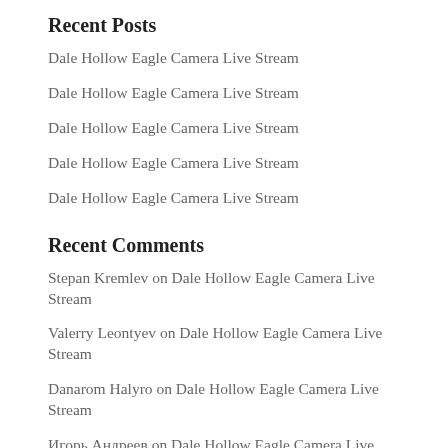Recent Posts
Dale Hollow Eagle Camera Live Stream
Dale Hollow Eagle Camera Live Stream
Dale Hollow Eagle Camera Live Stream
Dale Hollow Eagle Camera Live Stream
Dale Hollow Eagle Camera Live Stream
Recent Comments
Stepan Kremlev on Dale Hollow Eagle Camera Live Stream
Valerry Leontyev on Dale Hollow Eagle Camera Live Stream
Danarom Halyro on Dale Hollow Eagle Camera Live Stream
Игорь Андреев on Dale Hollow Eagle Camera Live Stream